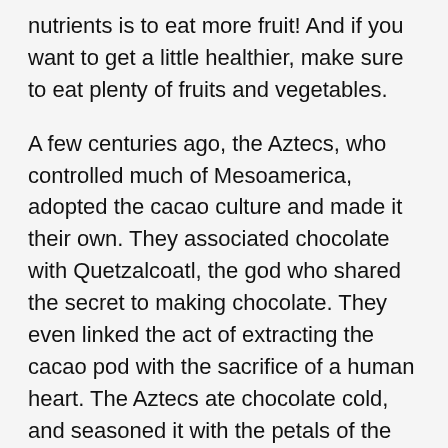nutrients is to eat more fruit! And if you want to get a little healthier, make sure to eat plenty of fruits and vegetables.
A few centuries ago, the Aztecs, who controlled much of Mesoamerica, adopted the cacao culture and made it their own. They associated chocolate with Quetzalcoatl, the god who shared the secret to making chocolate. They even linked the act of extracting the cacao pod with the sacrifice of a human heart. The Aztecs ate chocolate cold, and seasoned it with the petals of the Cymbopetalum penduliflorum tree and chile pepper. They added cinnamon, allspice, honey, and vanilla to it.
The most common types of chocolate are those made with type V crystals. This type of crystals gives